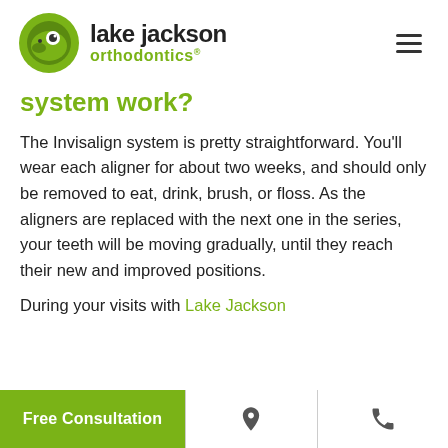lake jackson orthodontics
system work?
The Invisalign system is pretty straightforward. You'll wear each aligner for about two weeks, and should only be removed to eat, drink, brush, or floss. As the aligners are replaced with the next one in the series, your teeth will be moving gradually, until they reach their new and improved positions.
During your visits with Lake Jackson
Free Consultation